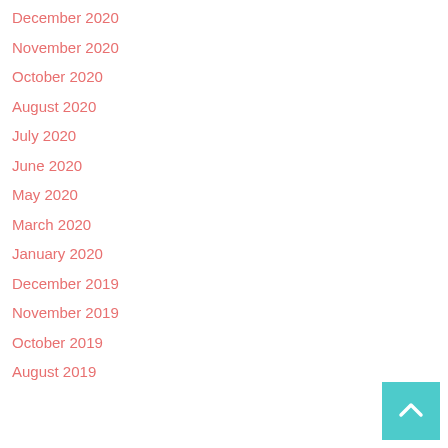December 2020
November 2020
October 2020
August 2020
July 2020
June 2020
May 2020
March 2020
January 2020
December 2019
November 2019
October 2019
August 2019